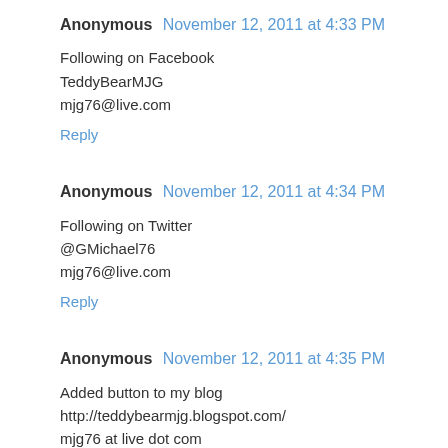Anonymous  November 12, 2011 at 4:33 PM
Following on Facebook
TeddyBearMJG
mjg76@live.com
Reply
Anonymous  November 12, 2011 at 4:34 PM
Following on Twitter
@GMichael76
mjg76@live.com
Reply
Anonymous  November 12, 2011 at 4:35 PM
Added button to my blog http://teddybearmjg.blogspot.com/
mjg76 at live dot com
Reply